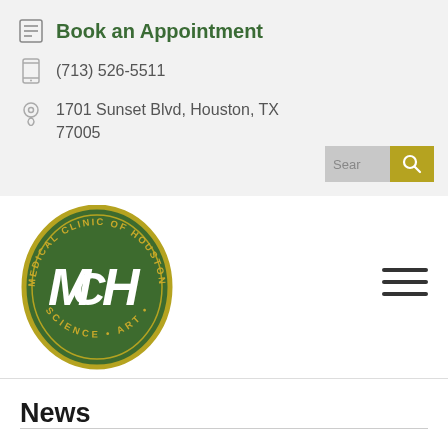Book an Appointment
(713) 526-5511
1701 Sunset Blvd, Houston, TX 77005
[Figure (logo): Medical Clinic of Houston LLP circular logo with MCH monogram, dark green background with gold text, Science Art Service tagline]
News